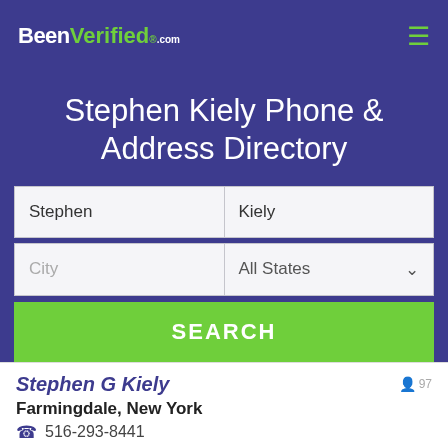BeenVerified.com
Stephen Kiely Phone & Address Directory
Stephen | Kiely
City | All States
SEARCH
Stephen G Kiely
Farmingdale, New York
516-293-8441